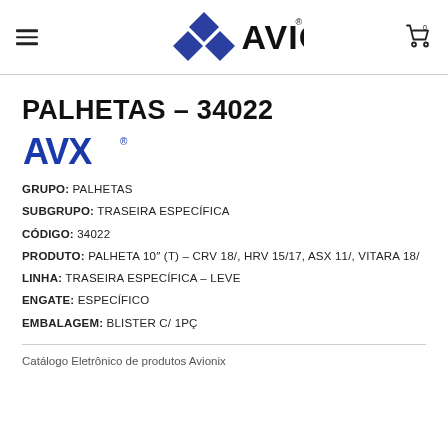AVIONIX
PALHETAS – 34022
[Figure (logo): AVX brand logo in blue letters with registered trademark symbol]
GRUPO: PALHETAS
SUBGRUPO: TRASEIRA ESPECÍFICA
CÓDIGO: 34022
PRODUTO: PALHETA 10" (T) – CRV 18/, HRV 15/17, ASX 11/, VITARA 18/
LINHA: TRASEIRA ESPECÍFICA – LEVE
ENGATE: ESPECÍFICO
EMBALAGEM: BLISTER C/ 1PÇ
Catálogo Eletrônico de produtos Avionix